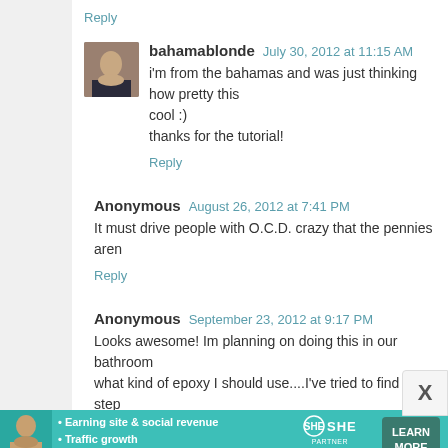Reply
bahamablonde  July 30, 2012 at 11:15 AM
i'm from the bahamas and was just thinking how pretty this cool :)
thanks for the tutorial!
Reply
Anonymous  August 26, 2012 at 7:41 PM
It must drive people with O.C.D. crazy that the pennies aren't
Reply
Anonymous  September 23, 2012 at 9:17 PM
Looks awesome! Im planning on doing this in our bathroom what kind of epoxy I should use....I've tried to find diy step the glossy clear epoxy look better...any suggestions would b thanks!
Reply
[Figure (infographic): SHE Partner Network banner ad with woman photo, bullet points about earning site & social revenue, traffic growth, speaking on our stages, SHE logo, and LEARN MORE button]